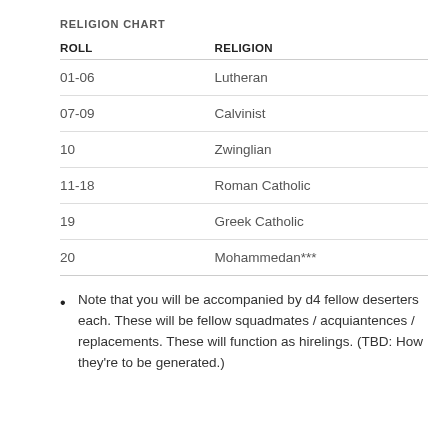RELIGION CHART
| ROLL | RELIGION |
| --- | --- |
| 01-06 | Lutheran |
| 07-09 | Calvinist |
| 10 | Zwinglian |
| 11-18 | Roman Catholic |
| 19 | Greek Catholic |
| 20 | Mohammedan*** |
Note that you will be accompanied by d4 fellow deserters each. These will be fellow squadmates / acquiantences / replacements. These will function as hirelings. (TBD: How they're to be generated.)